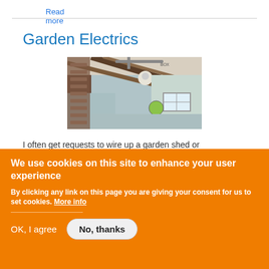Read more
Garden Electrics
[Figure (photo): Interior of a shed or outbuilding showing wooden roof beams, insulated walls, a small window, and electrical wiring/fittings on the ceiling.]
I often get requests to wire up a garden shed or
We use cookies on this site to enhance your user experience
By clicking any link on this page you are giving your consent for us to set cookies. More info
OK, I agree
No, thanks